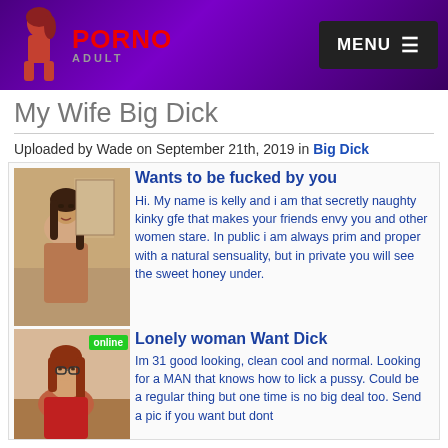PORNO ADULT — MENU
My Wife Big Dick
Uploaded by Wade on September 21th, 2019 in Big Dick
[Figure (photo): Photo of brunette woman]
Wants to be fucked by you
Hi. My name is kelly and i am that secretly naughty kinky gfe that makes your friends envy you and other women stare. In public i am always prim and proper with a natural sensuality, but in private you will see the sweet honey under.
[Figure (photo): Photo of redheaded woman with online badge]
Lonely woman Want Dick
Im 31 good looking, clean cool and normal. Looking for a MAN that knows how to lick a pussy. Could be a regular thing but one time is no big deal too. Send a pic if you want but dont